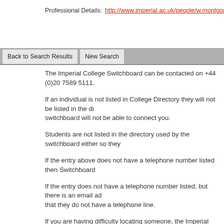Professional Details: http://www.imperial.ac.uk/people/w.montgomery
The Imperial College Switchboard can be contacted on +44 (0)20 7589 5111.
If an individual is not listed in College Directory they will not be listed in the directory and the switchboard will not be able to connect you.
Students are not listed in the directory used by the switchboard either so they
If the entry above does not have a telephone number listed then Switchboard
If the entry does not have a telephone number listed, but there is an email address, that they do not have a telephone line.
If you are having difficulty locating someone, the Imperial College switchboard Faculty, Division or Department who may be able to help.